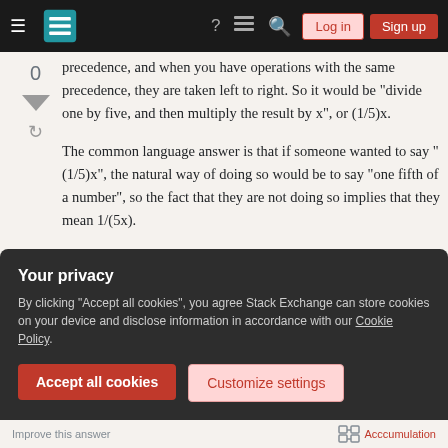Stack Exchange navigation bar with hamburger menu, logo, help, chat, search icons, Log in and Sign up buttons
precedence, and when you have operations with the same precedence, they are taken left to right. So it would be "divide one by five, and then multiply the result by x", or (1/5)x.
The common language answer is that if someone wanted to say "(1/5)x", the natural way of doing so would be to say "one fifth of a number", so the fact that they are not doing so implies that they mean 1/(5x).
BTW, it could be made unambiguous by writing it as
Your privacy
By clicking "Accept all cookies", you agree Stack Exchange can store cookies on your device and disclose information in accordance with our Cookie Policy.
Accept all cookies
Customize settings
Improve this answer   Acccumulation